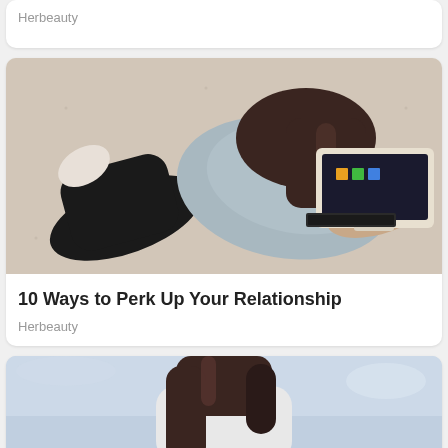Herbeauty
[Figure (photo): Overhead view of a woman lying on a carpeted floor using a laptop computer, wearing a grey hoodie and black pants]
10 Ways to Perk Up Your Relationship
Herbeauty
[Figure (photo): Woman with long dark hair wearing a white top, photographed from below against a light blue sky]